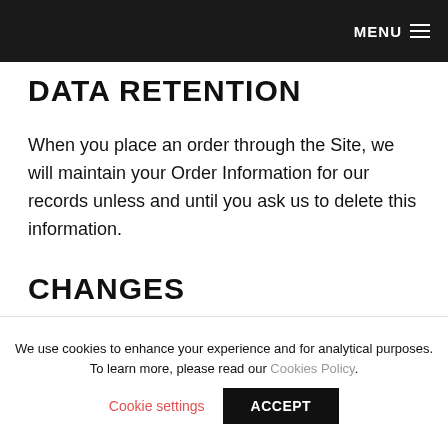MENU
DATA RETENTION
When you place an order through the Site, we will maintain your Order Information for our records unless and until you ask us to delete this information.
CHANGES
We use cookies to enhance your experience and for analytical purposes. To learn more, please read our Cookies Policy.